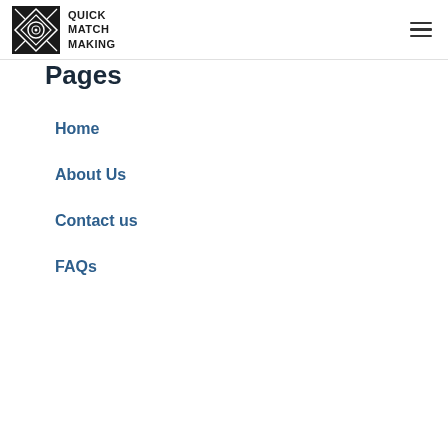Quick Match Making
Pages
Home
About Us
Contact us
FAQs